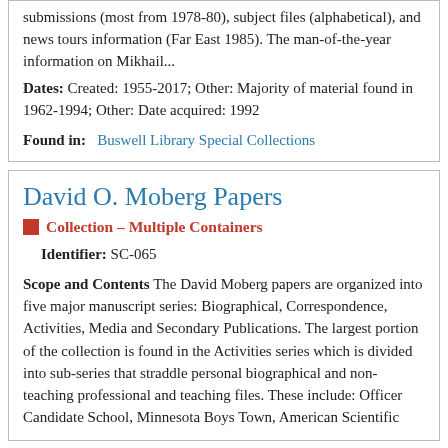submissions (most from 1978-80), subject files (alphabetical), and news tours information (Far East 1985). The man-of-the-year information on Mikhail...
Dates: Created: 1955-2017; Other: Majority of material found in 1962-1994; Other: Date acquired: 1992
Found in: Buswell Library Special Collections
David O. Moberg Papers
Collection – Multiple Containers
Identifier: SC-065
Scope and Contents The David Moberg papers are organized into five major manuscript series: Biographical, Correspondence, Activities, Media and Secondary Publications. The largest portion of the collection is found in the Activities series which is divided into sub-series that straddle personal biographical and non-teaching professional and teaching files. These include: Officer Candidate School, Minnesota Boys Town, American Scientific